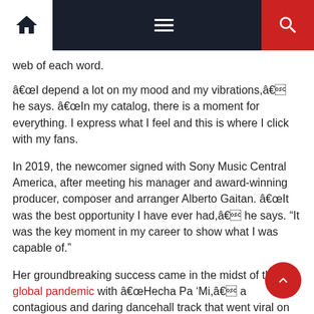Navigation bar with home, menu, and search icons
web of each word.
â€œI depend a lot on my mood and my vibrations,â€ he says. â€œIn my catalog, there is a moment for everything. I express what I feel and this is where I click with my fans.
In 2019, the newcomer signed with Sony Music Central America, after meeting his manager and award-winning producer, composer and arranger Alberto Gaitan. â€œIt was the best opportunity I have ever had,â€ he says. “It was the key moment in my career to show what I was capable of.”
Her groundbreaking success came in the midst of the global pandemic with â€œHecha Pa ‘Mi,â€ a contagious and daring dancehall track that went viral on TikTok and entered Billboard Hot Latin, Global and Global Songs The US charts in 2020.